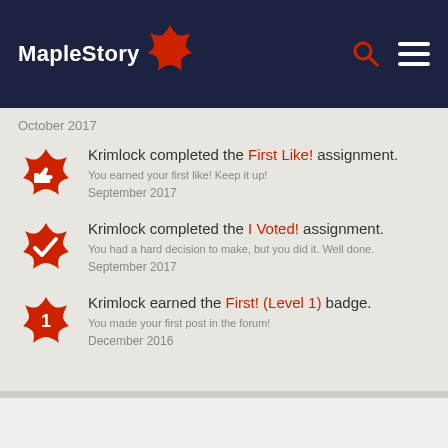MapleStory
October 2017
Krimlock completed the First Like! assignment. You earned your first like! Keep it up! September 2017
Krimlock completed the I Voted! assignment. You had a hard decision to make, but you did it. Well done. September 2017
Krimlock earned the First! (Level 1) badge. You made your first post in the forum! December 2016